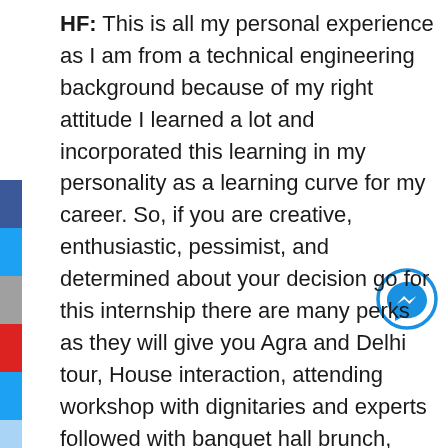HF: This is all my personal experience as I am from a technical engineering background because of my right attitude I learned a lot and incorporated this learning in my personality as a learning curve for my career. So, if you are creative, enthusiastic, pessimist, and determined about your decision go for this internship there are many perks as they will give you Agra and Delhi tour, House interaction, attending workshop with dignitaries and experts followed with banquet hall brunch, bumping on IAS, IPS, IRS officer's or even MP's you won't find these things in any other